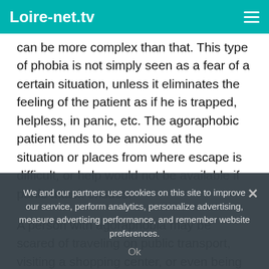Loire-net.tv
can be more complex than that. This type of phobia is not simply seen as a fear of a certain situation, unless it eliminates the feeling of the patient as if he is trapped, helpless, in panic, etc. The agoraphobic patient tends to be anxious at the situation or places from where escape is difficult, or help would not be available if panic attack ensues.
A person with agoraphobia may be scared of traveling on public transport, visiting a shopping center, or even being alone at home (in most severe cases of this condition). On the other hand, in social phobia an individual is afraid to face the
We and our partners use cookies on this site to improve our service, perform analytics, personalize advertising, measure advertising performance, and remember website preferences.
Ok